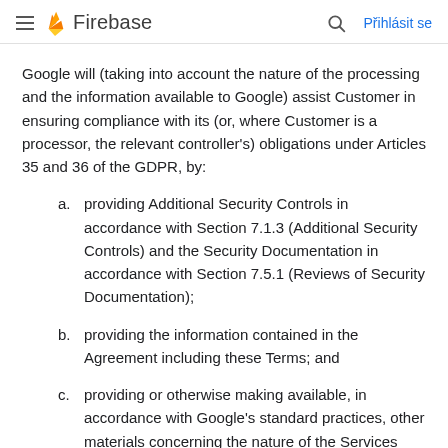Firebase — Přihlásit se
Google will (taking into account the nature of the processing and the information available to Google) assist Customer in ensuring compliance with its (or, where Customer is a processor, the relevant controller's) obligations under Articles 35 and 36 of the GDPR, by:
a. providing Additional Security Controls in accordance with Section 7.1.3 (Additional Security Controls) and the Security Documentation in accordance with Section 7.5.1 (Reviews of Security Documentation);
b. providing the information contained in the Agreement including these Terms; and
c. providing or otherwise making available, in accordance with Google's standard practices, other materials concerning the nature of the Services and the processing of Customer Personal Data (for